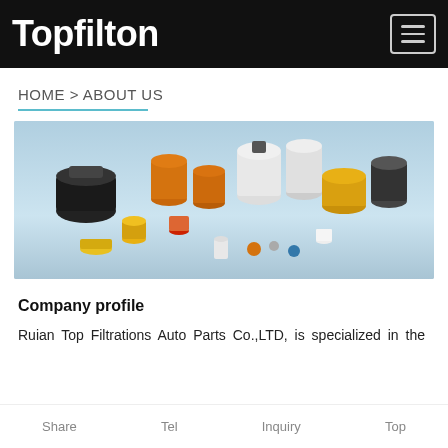Topfilton
HOME > ABOUT US
[Figure (photo): A collection of various automotive and industrial filter parts arranged on a light blue background, including cylindrical oil filters, fuel filters, air filters in various sizes and colors (black, orange, yellow, white, beige).]
Company profile
Ruian Top Filtrations Auto Parts Co.,LTD, is specialized in the
Share   Tel   Inquiry   Top